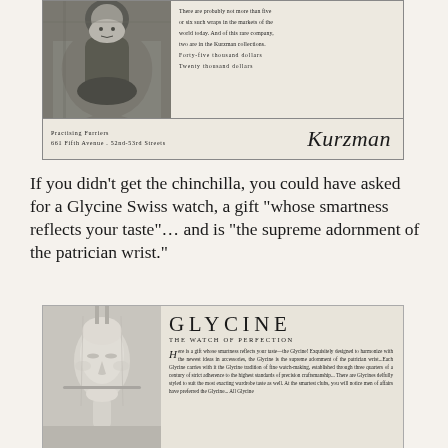[Figure (photo): Advertisement for Kurzman Furriers showing a woman in a fur wrap (photograph, top left), with advertising copy text on the right side. Bottom bar reads 'Practising Furriers 661 Fifth Avenue . 52nd-53rd Streets' and 'Kurzman' in script.]
If you didn't get the chinchilla, you could have asked for a Glycine Swiss watch, a gift "whose smartness reflects your taste"... and is "the supreme adornment of the patrician wrist."
[Figure (photo): Advertisement for Glycine, The Watch of Perfection. Left side shows a stylized sculptural face/mannequin. Right side has large 'GLYCINE' heading, subtitle 'THE WATCH OF PERFECTION', and body copy beginning 'Here is a gift whose smartness reflects your taste—the Glycine! Exquisitely designed to harmonize with the newest ideas in accessories, the Glycine is the supreme adornment of the patrician wrist...']